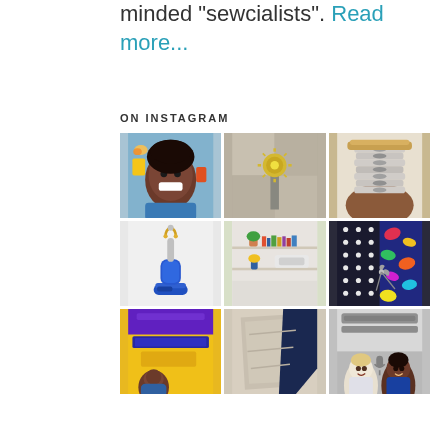minded "sewcialists". Read more...
ON INSTAGRAM
[Figure (photo): 3x3 Instagram photo grid showing: row 1 - smiling woman selfie, decorative sewing machine button/ornament, stack of bobbins in hand; row 2 - blue seam ripper on white background, sewing studio with shelves and sunflowers, colorful fabric swatches and scissors; row 3 - Stitch Please podcast promo graphic, beige fabric/pattern pieces, Style + Sewing Chat podcast promo with two people]